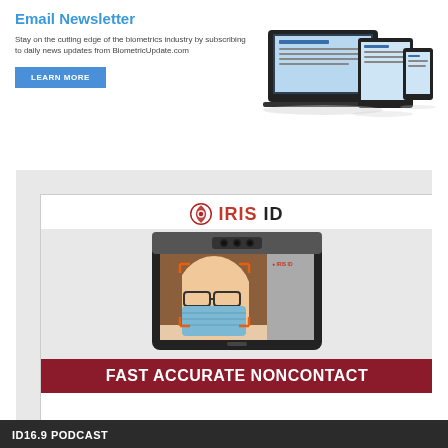Email Newsletter
Stay on the cutting edge of the biometrics industry by subscribing to daily news updates from BiometricUpdate.com
LEARN MORE
[Figure (screenshot): Iris ID advertisement showing a tablet device with a woman wearing a face mask and glasses being scanned by iris recognition technology. Shows IRIS ID logo at top and orange corner markers on screen.]
FAST ACCURATE NONCONTACT
ID16.9 PODCAST